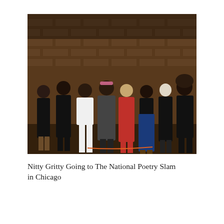[Figure (photo): Group photo of eight people standing together in front of a brick wall. They are dressed in various outfits — black clothing, a white dress, a red dress, a blue maxi skirt, and plaid. The setting appears to be an indoor venue with dim lighting and a concrete floor.]
Nitty Gritty Going to The National Poetry Slam in Chicago